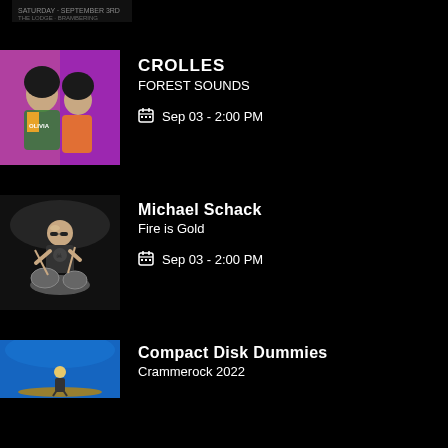[Figure (photo): Partial image at top of page, cropped event poster]
CROLLES
FOREST SOUNDS
Sep 03 - 2:00 PM
[Figure (photo): Photo of CROLLES artists, two people with colorful background]
Michael Schack
Fire is Gold
Sep 03 - 2:00 PM
[Figure (photo): Photo of Michael Schack playing drums on stage]
Compact Disk Dummies
Crammerock 2022
[Figure (photo): Photo of Compact Disk Dummies, performer on stage]